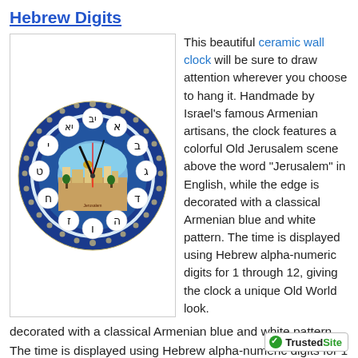Hebrew Digits
[Figure (photo): A ceramic wall clock with a blue border, Hebrew alpha-numeric digits 1-12 arranged around the face, and a colorful Old Jerusalem scene in the center.]
This beautiful ceramic wall clock will be sure to draw attention wherever you choose to hang it. Handmade by Israel's famous Armenian artisans, the clock features a colorful Old Jerusalem scene above the word "Jerusalem" in English, while the edge is decorated with a classical Armenian blue and white pattern. The time is displayed using Hebrew alpha-numeric digits for 1 through 12, giving the clock a unique Old World look.
Read more about Armenian Ceramics here!